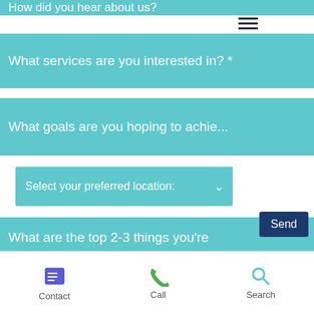How did you hear about us?
What services are you interested in? *
What goals are you hoping to achie...
Select your preferred location:
What are the top 2-3 things you're struggling with? *
Send
Contact  Call  Search